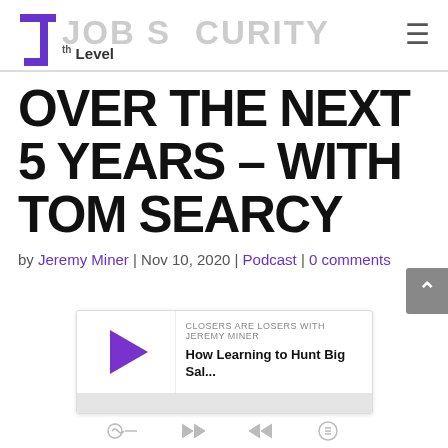JOB SECURITY — 7th Level
OVER THE NEXT 5 YEARS – WITH TOM SEARCY
by Jeremy Miner | Nov 10, 2020 | Podcast | 0 comments
[Figure (screenshot): Podcast player widget showing 'CLOSERS ARE LOSERS WITH JEREMY MINER' with episode title 'How Learning to Hunt Big Sal...' and a purple play button, progress bar, and playback controls]